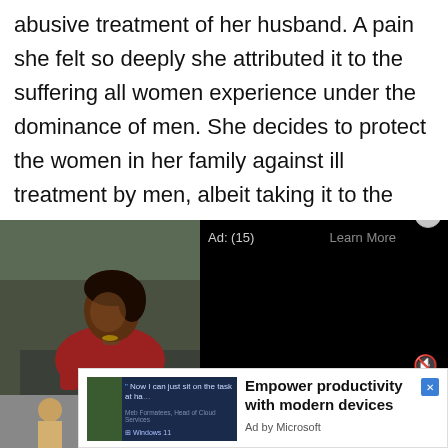abusive treatment of her husband. A pain she felt so deeply she attributed it to the suffering all women experience under the dominance of men. She decides to protect the women in her family against ill treatment by men, albeit taking it to the extreme.
[Figure (screenshot): A video player showing a woman in a red top seated, with a black video overlay panel showing 'Ad: (15)' and 'Learn More', a close button, and a mute/unmute icon.]
[Figure (screenshot): A Microsoft advertisement banner reading 'Empower productivity with modern devices', 'Ad by Microsoft', with a Windows 11 branded image on the left showing a quote 'Now I can just sit on the task at ha...' attributed to a person, and an X close button.]